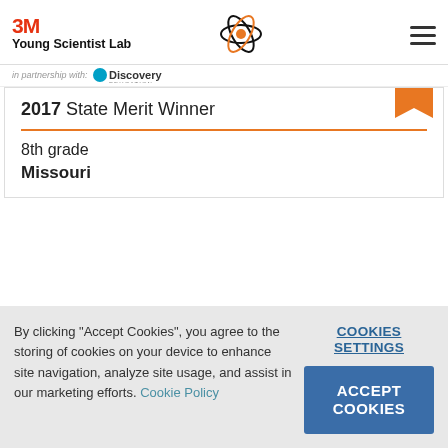3M Young Scientist Lab in partnership with Discovery Education
2017 State Merit Winner
8th grade
Missouri
By clicking "Accept Cookies", you agree to the storing of cookies on your device to enhance site navigation, analyze site usage, and assist in our marketing efforts. Cookie Policy
COOKIES SETTINGS
ACCEPT COOKIES